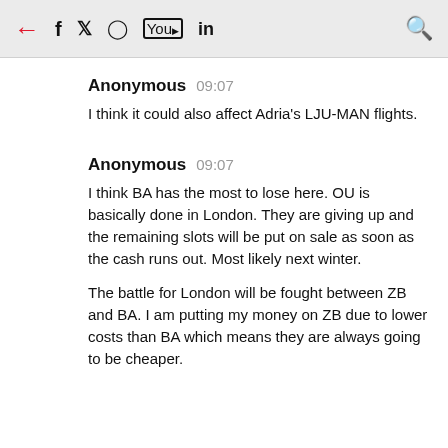← f 𝕏 𝗂𝗇 🔍
Anonymous  09:07
I think it could also affect Adria's LJU-MAN flights.
Anonymous  09:07
I think BA has the most to lose here. OU is basically done in London. They are giving up and the remaining slots will be put on sale as soon as the cash runs out. Most likely next winter.

The battle for London will be fought between ZB and BA. I am putting my money on ZB due to lower costs than BA which means they are always going to be cheaper.